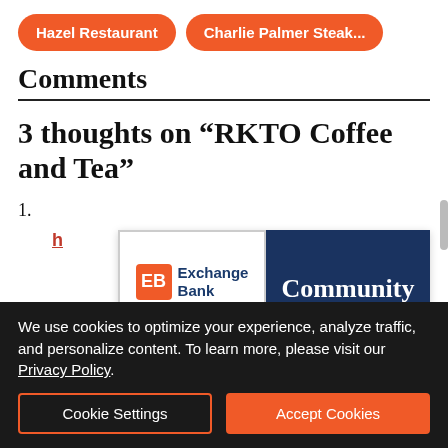Hazel Restaurant
Charlie Palmer Steak...
Comments
3 thoughts on “RKTO Coffee and Tea”
[Figure (illustration): Exchange Bank advertisement banner with logo on left (orange EB box, blue Exchange Bank text, Member FDIC, Equal Lender, NMLS ID 643948) and dark navy right panel with white serif text reading 'Community Strong.']
1.
We use cookies to optimize your experience, analyze traffic, and personalize content. To learn more, please visit our Privacy Policy.
Cookie Settings
Accept Cookies